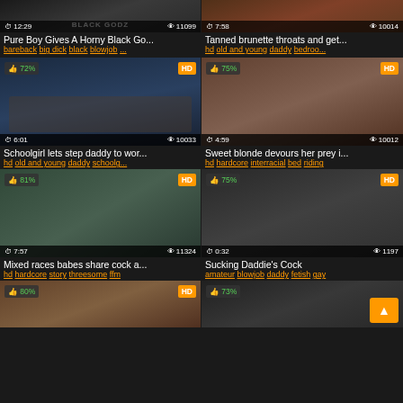[Figure (screenshot): Video thumbnail grid - adult content website with video thumbnails, titles, tags, view counts, durations, HD badges and percentage ratings]
Pure Boy Gives A Horny Black Go...
bareback big dick black blowjob ...
Tanned brunette throats and get...
hd old and young daddy bedroo...
Schoolgirl lets step daddy to wor...
hd old and young daddy schoolg...
Sweet blonde devours her prey i...
hd hardcore interracial bed riding
Mixed races babes share cock a...
hd hardcore story threesome ffm
Sucking Daddie's Cock
amateur blowjob daddy fetish gay